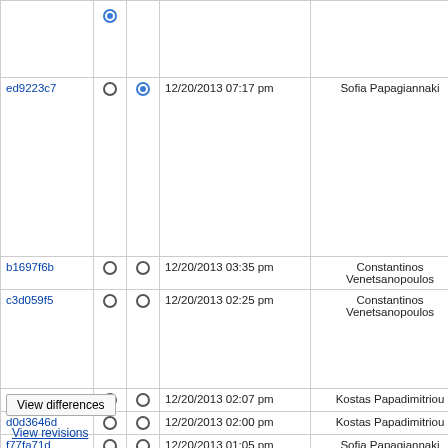| ID |  |  | Date | User | Comment |
| --- | --- | --- | --- | --- | --- |
|  |  |  |  |  | Don any. |
| ed9223c7 | ○ | ● | 12/20/2013 07:17 pm | Sofia Papagiannaki | asta Cha redir Upd This Refs |
| b1697f6b | ○ | ○ | 12/20/2013 03:35 pm | Constantinos Venetsanopoulos | asta |
| c3d059f5 | ○ | ○ | 12/20/2013 02:25 pm | Constantinos Venetsanopoulos | asta Cha |
| 2c6bc262 | ○ | ○ | 12/20/2013 02:07 pm | Kostas Papadimitriou | asta |
| d0d3646d | ○ | ○ | 12/20/2013 02:00 pm | Kostas Papadimitriou | asta |
| f77fa71d | ○ | ○ | 12/20/2013 01:05 pm | Sofia Papagiannaki | asta Rem |
| d7030402 | ○ | ○ | 12/19/2013 05:09 pm | Kostas Papadimitriou | asta reme whe |
| 69a6ca1a | ○ | ○ | 12/19/2013 05:09 pm | Kostas Papadimitriou | asta |
| 95b7c3f6 |  | ○ | 12/19/2013 05:09 pm | Kostas Papadimitriou | asta disp |
View differences
View revisions